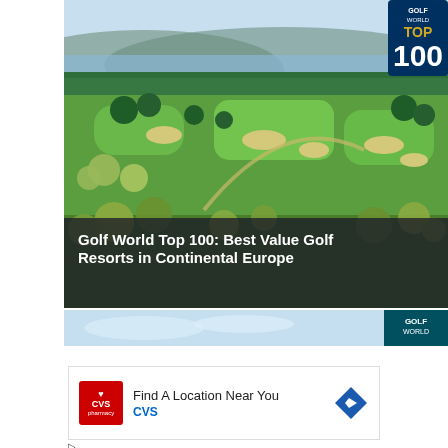[Figure (photo): Aerial photograph of a lush green golf course with trees, sand bunkers, fairways and a body of water in the background under a clear sky, overlaid with a dark semi-transparent banner containing article title text and a Golf World Top 100 badge in the upper right corner.]
Golf World Top 100: Best Value Golf Resorts in Continental Europe
[Figure (screenshot): A web advertisement banner for CVS Pharmacy. Contains CVS logo (red box with heart and pharmacy text), headline 'Find A Location Near You', 'CVS' in blue text, a blue navigation arrow diamond icon, and small playback and close controls.]